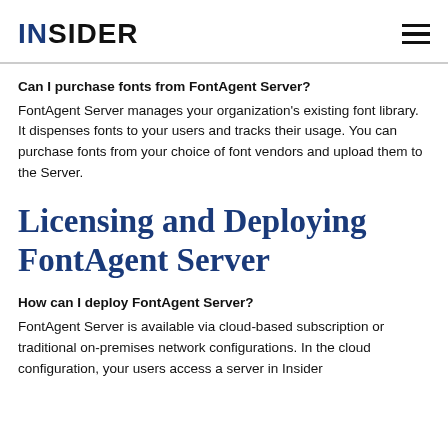INSIDER
Can I purchase fonts from FontAgent Server?
FontAgent Server manages your organization's existing font library. It dispenses fonts to your users and tracks their usage. You can purchase fonts from your choice of font vendors and upload them to the Server.
Licensing and Deploying FontAgent Server
How can I deploy FontAgent Server?
FontAgent Server is available via cloud-based subscription or traditional on-premises network configurations. In the cloud configuration, your users access a server in Insider